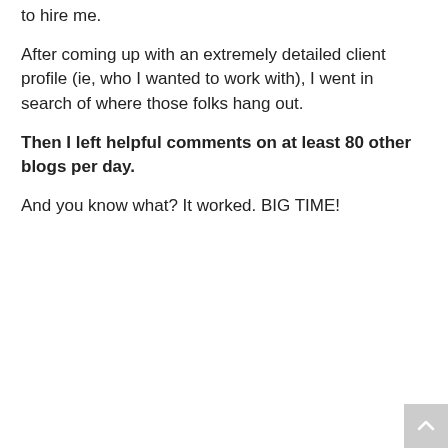to hire me.
After coming up with an extremely detailed client profile (ie, who I wanted to work with), I went in search of where those folks hang out.
Then I left helpful comments on at least 80 other blogs per day.
And you know what? It worked. BIG TIME!